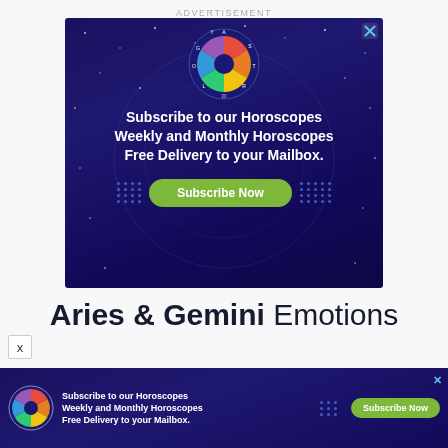ADVERTISEMENT
[Figure (illustration): Astrology Signs Zodiac advertisement banner with colorful zodiac wheel logo and text: Subscribe to our Horoscopes Weekly and Monthly Horoscopes Free Delivery to your Mailbox. Subscribe Now button.]
Aries & Gemini Emotions
[Figure (illustration): Bottom sticky advertisement banner: Astrology Signs Zodiac with colorful wheel logo, Subscribe to our Horoscopes Weekly and Monthly Horoscopes Free Delivery to your Mailbox. Subscribe Now button. Close X button.]